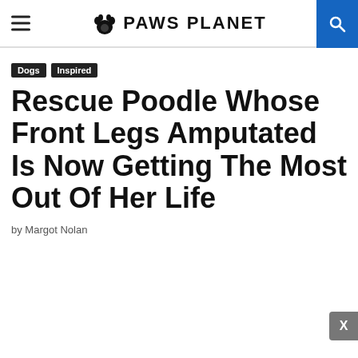PAWS PLANET
Dogs
Inspired
Rescue Poodle Whose Front Legs Amputated Is Now Getting The Most Out Of Her Life
by Margot Nolan